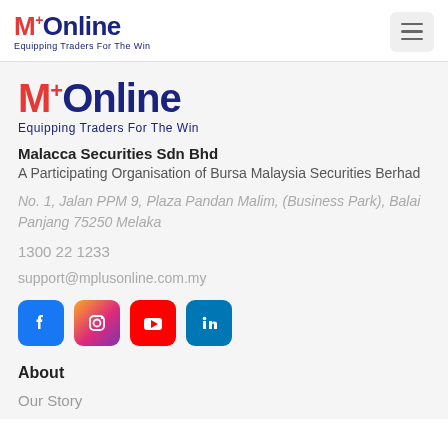[Figure (logo): M+ Online logo with tagline 'Equipping Traders For The Win' in navigation bar]
[Figure (logo): M+ Online logo (larger) with tagline 'Equipping Traders For The Win' in main content area]
Malacca Securities Sdn Bhd
A Participating Organisation of Bursa Malaysia Securities Berhad
No. 1, Jalan PPM 9, Plaza Pandan Malim, (Business Park), Balai Panjang 75250 Melaka
1300 22 1233
support@mplusonline.com.my
[Figure (infographic): Social media icons: Facebook (blue), Instagram (gradient purple/orange), YouTube (red), LinkedIn (blue)]
About
Our Story